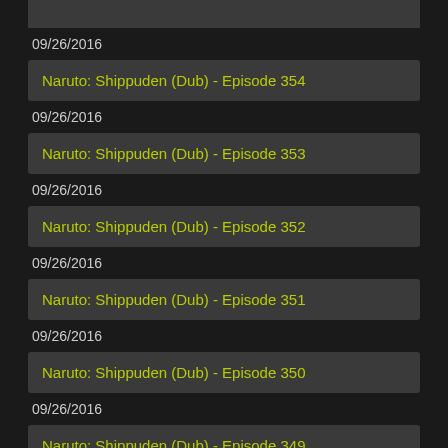Naruto: Shippuden (Dub) - Episode 354
09/26/2016
Naruto: Shippuden (Dub) - Episode 353
09/26/2016
Naruto: Shippuden (Dub) - Episode 352
09/26/2016
Naruto: Shippuden (Dub) - Episode 351
09/26/2016
Naruto: Shippuden (Dub) - Episode 350
09/26/2016
Naruto: Shippuden (Dub) - Episode 349
09/26/2016